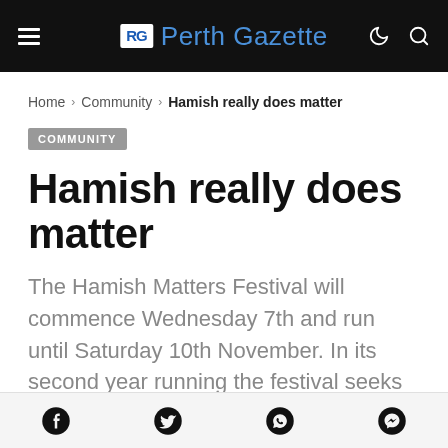Perth Gazette
Home > Community > Hamish really does matter
COMMUNITY
Hamish really does matter
The Hamish Matters Festival will commence Wednesday 7th and run until Saturday 10th November. In its second year running the festival seeks to